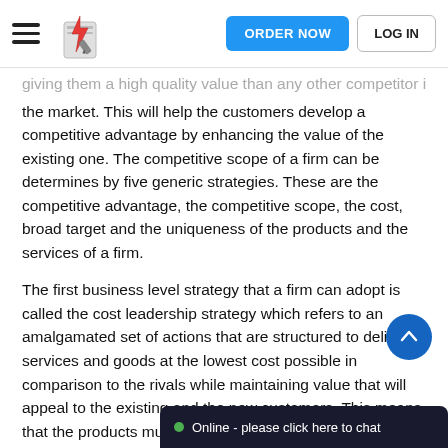ORDER NOW | LOG IN
giving them a high quality value than any other competitor in the market. This will help the customers develop a competitive advantage by enhancing the value of the existing one. The competitive scope of a firm can be determines by five generic strategies. These are the competitive advantage, the competitive scope, the cost, broad target and the uniqueness of the products and the services of a firm.
The first business level strategy that a firm can adopt is called the cost leadership strategy which refers to an amalgamated set of actions that are structured to deliver services and goods at the lowest cost possible in comparison to the rivals while maintaining value that will appeal to the existing and the new customers. This means that the products must be standardized, with features that are acceptable to the consumers  . This will enable the firm to cut costs as it maintains quality of service and satisfaction given to the customers. There are some costs saving actions that this strategy need... installation of effective and f...